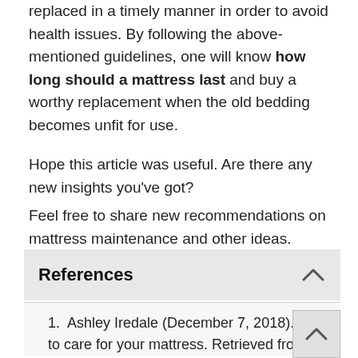replaced in a timely manner in order to avoid health issues. By following the above-mentioned guidelines, one will know how long should a mattress last and buy a worthy replacement when the old bedding becomes unfit for use.
Hope this article was useful. Are there any new insights you've got?
Feel free to share new recommendations on mattress maintenance and other ideas.
References
1. Ashley Iredale (December 7, 2018). How to care for your mattress. Retrieved from